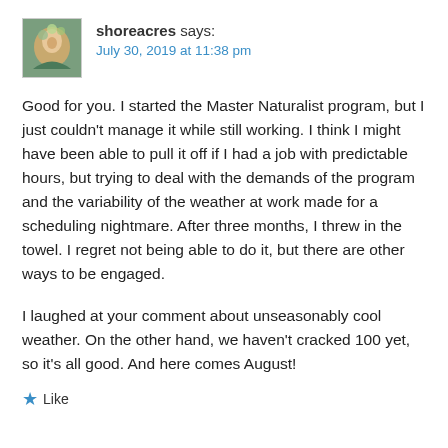[Figure (photo): Avatar/profile image thumbnail showing an artistic illustration with floral or decorative elements]
shoreacres says:
July 30, 2019 at 11:38 pm
Good for you. I started the Master Naturalist program, but I just couldn't manage it while still working. I think I might have been able to pull it off if I had a job with predictable hours, but trying to deal with the demands of the program and the variability of the weather at work made for a scheduling nightmare. After three months, I threw in the towel. I regret not being able to do it, but there are other ways to be engaged.
I laughed at your comment about unseasonably cool weather. On the other hand, we haven't cracked 100 yet, so it's all good. And here comes August!
Like